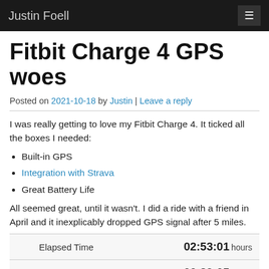Justin Foell
Fitbit Charge 4 GPS woes
Posted on 2021-10-18 by Justin | Leave a reply
I was really getting to love my Fitbit Charge 4. It ticked all the boxes I needed:
Built-in GPS
Integration with Strava
Great Battery Life
All seemed great, until it wasn't. I did a ride with a friend in April and it inexplicably dropped GPS signal after 5 miles.
|  |  |
| --- | --- |
| Elapsed Time | 02:53:01 hours |
| Moving Time | 00:29:05 hours |
| Distance | 4.90 mi. |